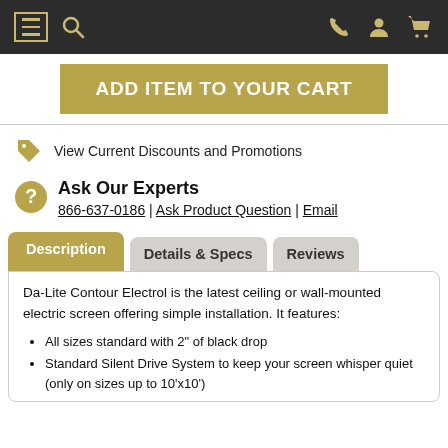Navigation bar with menu, search, phone, account, and cart icons
ADD ITEM TO YOUR CART
View Current Discounts and Promotions
Ask Our Experts
866-637-0186 | Ask Product Question | Email
Description | Details & Specs | Reviews
Da-Lite Contour Electrol is the latest ceiling or wall-mounted electric screen offering simple installation. It features:
All sizes standard with 2" of black drop
Standard Silent Drive System to keep your screen whisper quiet (only on sizes up to 10'x10')